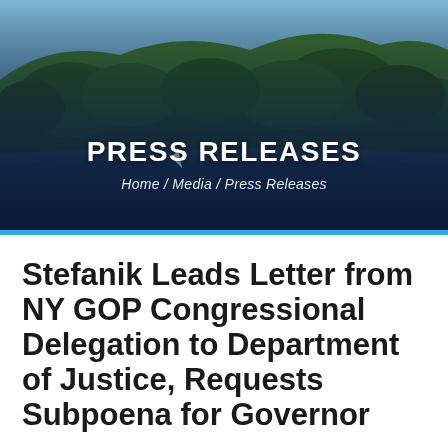[Figure (photo): Scenic landscape photo showing green forested hills and a river or lake below, used as a hero banner background for a government press releases page.]
PRESS RELEASES
Home / Media / Press Releases
Stefanik Leads Letter from NY GOP Congressional Delegation to Department of Justice, Requests Subpoena for Governor